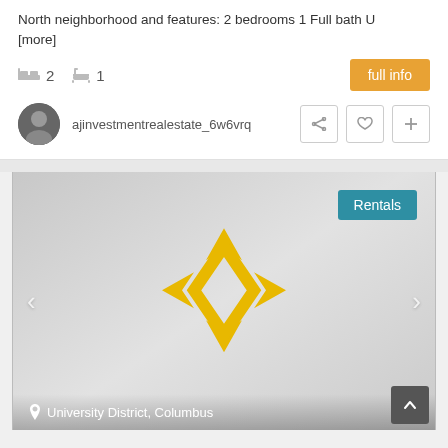North neighborhood and features: 2 bedrooms 1 Full bath U [more]
2 bedrooms, 1 bath
full info
ajinvestmentrealestate_6w6vrq
[Figure (screenshot): Real estate listing image placeholder showing a golden diamond/compass logo on a gray gradient background with 'Rentals' badge, navigation arrows, and 'University District, Columbus' location label]